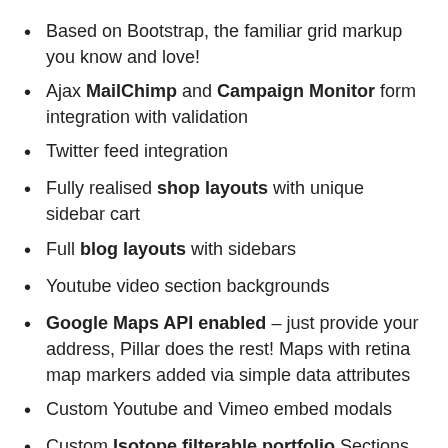Based on Bootstrap, the familiar grid markup you know and love!
Ajax MailChimp and Campaign Monitor form integration with validation
Twitter feed integration
Fully realised shop layouts with unique sidebar cart
Full blog layouts with sidebars
Youtube video section backgrounds
Google Maps API enabled – just provide your address, Pillar does the rest! Maps with retina map markers added via simple data attributes
Custom Youtube and Vimeo embed modals
Custom Isotope filterable portfolio Sections Lightbox Galleries